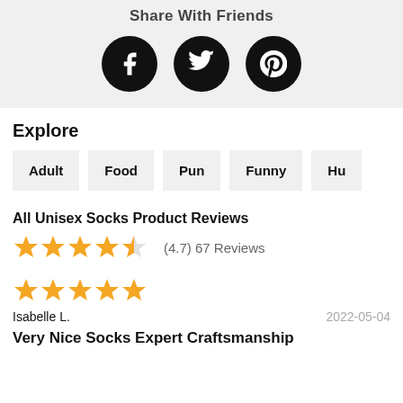[Figure (infographic): Social sharing icons: Facebook, Twitter, Pinterest in black circles]
Explore
Adult
Food
Pun
Funny
Hu...
All Unisex Socks Product Reviews
(4.7) 67 Reviews
Isabelle L. — 2022-05-04
Very Nice Socks Expert Craftsmanship